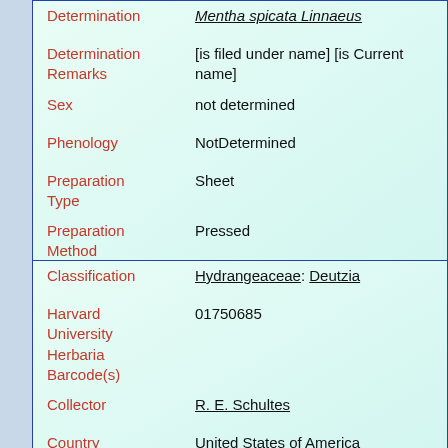Determination: Mentha spicata Linnaeus
Determination Remarks: [is filed under name] [is Current name]
Sex: not determined
Phenology: NotDetermined
Preparation Type: Sheet
Preparation Method: Pressed
Remarks: Cultivated
Classification: Hydrangeaceae: Deutzia
Harvard University Herbaria Barcode(s): 01750685
Collector: R. E. Schultes
Country: United States of America
State: Massachusetts